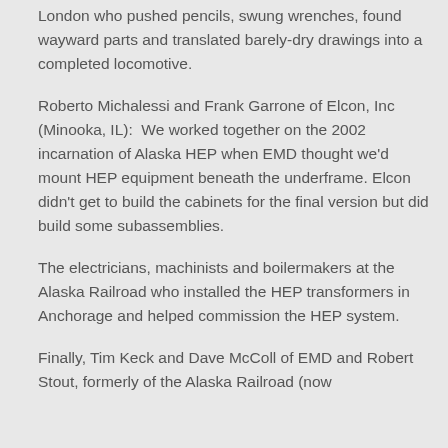London who pushed pencils, swung wrenches, found wayward parts and translated barely-dry drawings into a completed locomotive.
Roberto Michalessi and Frank Garrone of Elcon, Inc (Minooka, IL):  We worked together on the 2002 incarnation of Alaska HEP when EMD thought we'd mount HEP equipment beneath the underframe. Elcon didn't get to build the cabinets for the final version but did build some subassemblies.
The electricians, machinists and boilermakers at the Alaska Railroad who installed the HEP transformers in Anchorage and helped commission the HEP system.
Finally, Tim Keck and Dave McColl of EMD and Robert Stout, formerly of the Alaska Railroad (now